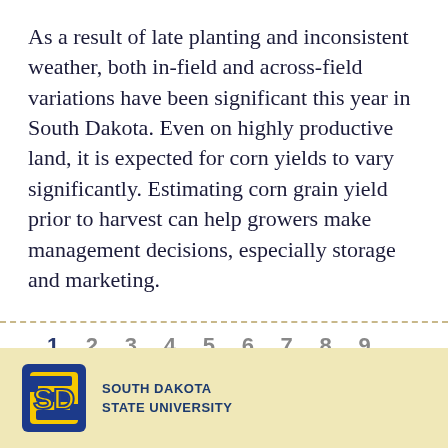As a result of late planting and inconsistent weather, both in-field and across-field variations have been significant this year in South Dakota. Even on highly productive land, it is expected for corn yields to vary significantly. Estimating corn grain yield prior to harvest can help growers make management decisions, especially storage and marketing.
1 2 3 4 5 6 7 8 9 ...
South Dakota State University